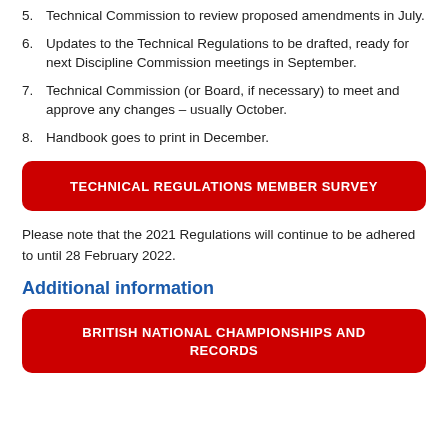5. Technical Commission to review proposed amendments in July.
6. Updates to the Technical Regulations to be drafted, ready for next Discipline Commission meetings in September.
7. Technical Commission (or Board, if necessary) to meet and approve any changes – usually October.
8. Handbook goes to print in December.
[Figure (other): Red rounded button with white uppercase text: TECHNICAL REGULATIONS MEMBER SURVEY]
Please note that the 2021 Regulations will continue to be adhered to until 28 February 2022.
Additional information
[Figure (other): Red rounded button with white uppercase text: BRITISH NATIONAL CHAMPIONSHIPS AND RECORDS]